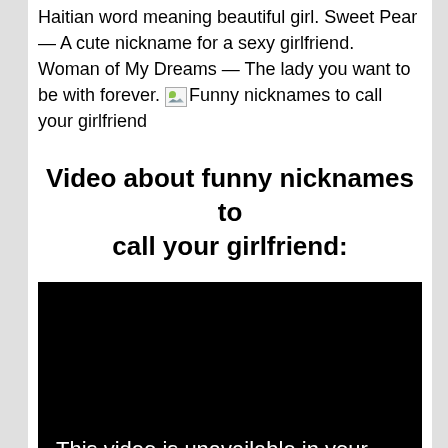Haitian word meaning beautiful girl. Sweet Pear — A cute nickname for a sexy girlfriend. Woman of My Dreams — The lady you want to be with forever. [broken image: Funny nicknames to call your girlfriend]
Video about funny nicknames to call your girlfriend:
[Figure (other): Embedded video player showing black screen with text 'This video is unavailable in your' at the bottom]